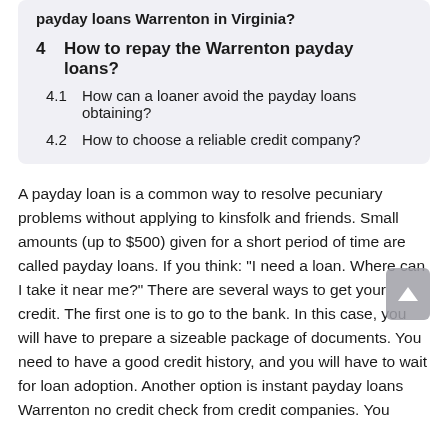payday loans Warrenton in Virginia?
4  How to repay the Warrenton payday loans?
4.1  How can a loaner avoid the payday loans obtaining?
4.2  How to choose a reliable credit company?
A payday loan is a common way to resolve pecuniary problems without applying to kinsfolk and friends. Small amounts (up to $500) given for a short period of time are called payday loans. If you think: "I need a loan. Where can I take it near me?" There are several ways to get your credit. The first one is to go to the bank. In this case, you will have to prepare a sizeable package of documents. You need to have a good credit history, and you will have to wait for loan adoption. Another option is instant payday loans Warrenton no credit check from credit companies. You